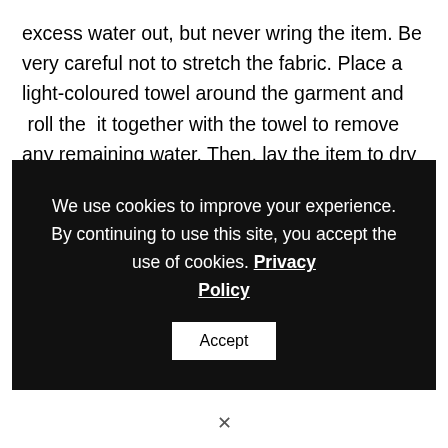excess water out, but never wring the item. Be very careful not to stretch the fabric. Place a light-coloured towel around the garment and  roll the  it together with the towel to remove any remaining water. Then, lay the item to dry in its natural shape, so you won't need to
We use cookies to improve your experience. By continuing to use this site, you accept the use of cookies. Privacy Policy  Accept